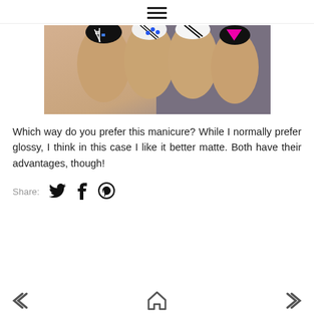≡ (hamburger menu icon)
[Figure (photo): Close-up photograph of a hand showing nail art manicure with decorative patterns including geometric designs, blue dots on black, diagonal stripes on white, and pink/magenta triangle on black background.]
Which way do you prefer this manicure? While I normally prefer glossy, I think in this case I like it better matte. Both have their advantages, though!
Share: [Twitter icon] [Facebook icon] [Pinterest icon]
← (previous) | ⌂ (home) | → (next)